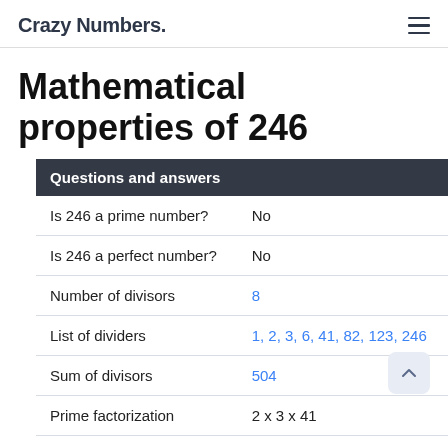Crazy Numbers.
Mathematical properties of 246
| Questions and answers |  |
| --- | --- |
| Is 246 a prime number? | No |
| Is 246 a perfect number? | No |
| Number of divisors | 8 |
| List of dividers | 1, 2, 3, 6, 41, 82, 123, 246 |
| Sum of divisors | 504 |
| Prime factorization | 2 x 3 x 41 |